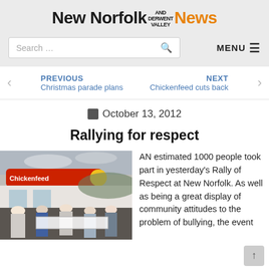New Norfolk AND DERWENT VALLEY News
Search …
MENU ☰
PREVIOUS Christmas parade plans
NEXT Chickenfeed cuts back
October 13, 2012
Rallying for respect
[Figure (photo): Crowd of people marching in a rally in front of a Chickenfeed store, holding a banner, overcast day.]
AN estimated 1000 people took part in yesterday's Rally of Respect at New Norfolk. As well as being a great display of community attitudes to the problem of bullying, the event